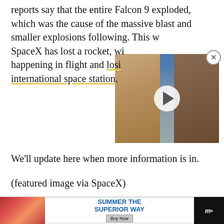reports say that the entire Falcon 9 exploded, which was the cause of the massive blast and smaller explosions following. This was not the first time SpaceX has lost a rocket, with previous incidents happening in flight and losing cargo bound for the international space station.
[Figure (photo): Video thumbnail showing three people (faces), with a play button overlay in the center]
We'll update here when more information is in.
(featured image via SpaceX)
Want more stories like this? Become a subscriber and support the site!
—The Mary Sue has a strict comment policy that
[Figure (photo): Advertisement banner at the bottom: photo of people with drinks on left, 'SUMMER THE SUPERIOR WAY' text with Buy Now button in center, dark logo on right]